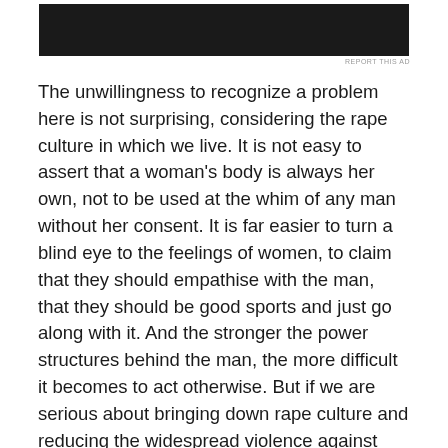[Figure (other): Dark/black advertisement banner image at the top of the page]
REPORT THIS AD
The unwillingness to recognize a problem here is not surprising, considering the rape culture in which we live. It is not easy to assert that a woman's body is always her own, not to be used at the whim of any man without her consent. It is far easier to turn a blind eye to the feelings of women, to claim that they should empathise with the man, that they should be good sports and just go along with it. And the stronger the power structures behind the man, the more difficult it becomes to act otherwise. But if we are serious about bringing down rape culture and reducing the widespread violence against women, then we need to make it clear that engaging with someone sexually without consent is not ok, even when it is an uncomfortable position to take. Especially when it is an uncomfortable